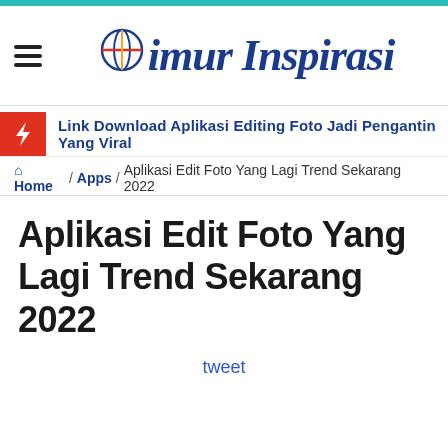Timur Inspirasi
Link Download Aplikasi Editing Foto Jadi Pengantin Yang Viral
Home / Apps / Aplikasi Edit Foto Yang Lagi Trend Sekarang 2022
Aplikasi Edit Foto Yang Lagi Trend Sekarang 2022
tweet